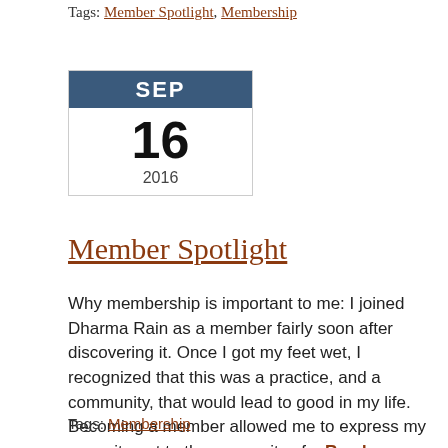Tags: Member Spotlight, Membership
[Figure (other): Calendar icon showing SEP 16 2016]
Member Spotlight
Why membership is important to me: I joined Dharma Rain as a member fairly soon after discovering it. Once I got my feet wet, I recognized that this was a practice, and a community, that would lead to good in my life. Becoming a member allowed me to express my commitment to the prosperity of... Read more »
Tags: Membership